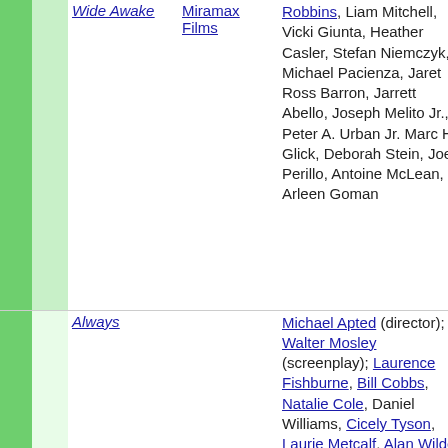|  |  | Title | Studio | Cast/Crew | Genre |
| --- | --- | --- | --- | --- | --- |
|  |  | Wide Awake | Miramax Films | Robbins, Liam Mitchell, Vicki Giunta, Heather Casler, Stefan Niemczyk, Michael Pacienza, Jaret Ross Barron, Jarrett Abello, Joseph Melito Jr., Peter A. Urban Jr. Marc H. Glick, Deborah Stein, Joey Perillo, Antoine McLean, Arleen Goman | Come Drama |
|  |  | Always | ... | Michael Apted (director); Walter Mosley (screenplay); Laurence Fishburne, Bill Cobbs, Natalie Cole, Daniel Williams, Cicely Tyson, Laurie Metcalf, Alan Wilder, Bridgid Coulter, Bill Nunn, Isaiah | ... |